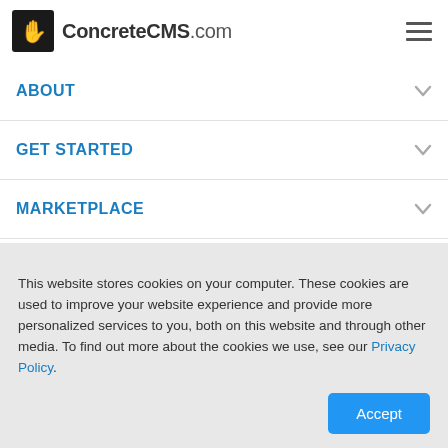ConcreteCMS.com
ABOUT
GET STARTED
MARKETPLACE
SUPPORT
This website stores cookies on your computer. These cookies are used to improve your website experience and provide more personalized services to you, both on this website and through other media. To find out more about the cookies we use, see our Privacy Policy.